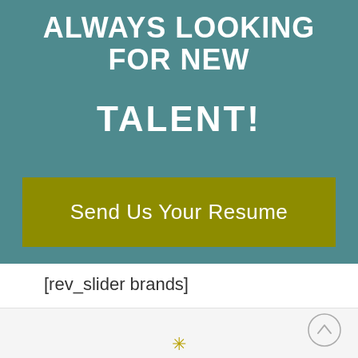Always looking for new talent!
Send Us Your Resume
[rev_slider brands]